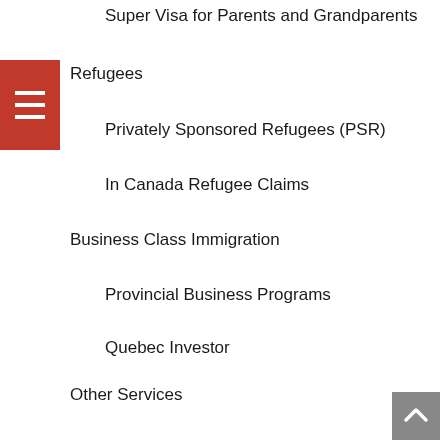Super Visa for Parents and Grandparents
Refugees
Privately Sponsored Refugees (PSR)
In Canada Refugee Claims
Business Class Immigration
Provincial Business Programs
Quebec Investor
Other Services
Change of Conditions
Citizenship
Labour Market Impact Assessment (LMIA)
Live-In Caregiver Program (LCP)
Permanent Resident Cards